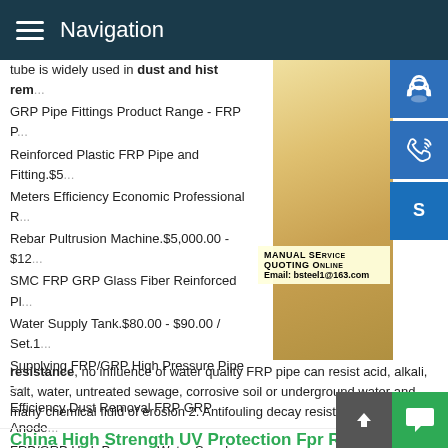Navigation
tube is widely used in dust and mist rem...
GRP Pipe Fittings Product Range - FRP P...
Reinforced Plastic FRP Pipe and Fitting.$5...
Meters Efficiency Economic Professional R...
Rebar Pultrusion Machine.$5,000.00 - $12...
SMC FRP GRP Glass Fiber Reinforced Pl...
Water Supply Tank.$80.00 - $90.00 / Set.1...
Supplying FRP/GRP High Pressure Pipe -...
Efficiency Dust Removal FRP GRP Anode...
FRP/GRP High Pressure Water Supply Pi...
[Figure (photo): Customer service representative woman with headset, alongside blue icon buttons for chat, phone, and Skype, and an overlay panel with MANUAL SE... QUOTING O... Email: bsteel1@163.com]
resistance, no influence of water quality FRP pipe can resist acid, alkali, salt, water, untreated sewage, corrosive soil or underground water and many chemical fluid of erosion 2. Antifouling decay resistance
China High Strength UV Protection Fpr Rou... Pipe